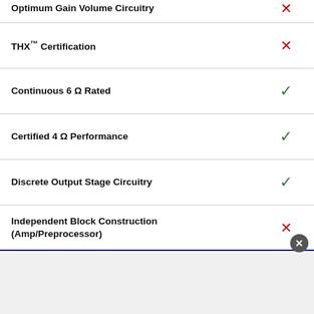| Feature | Available |
| --- | --- |
| Optimum Gain Volume Circuitry | ✗ |
| THX™ Certification | ✗ |
| Continuous 6 Ω Rated | ✓ |
| Certified 4 Ω Performance | ✓ |
| Discrete Output Stage Circuitry | ✓ |
| Independent Block Construction (Amp/Preprocessor) | ✗ |
| Bi-amp Capability | ✓ |
| BTL (Bridged Transless or Bridging) | ✗ |